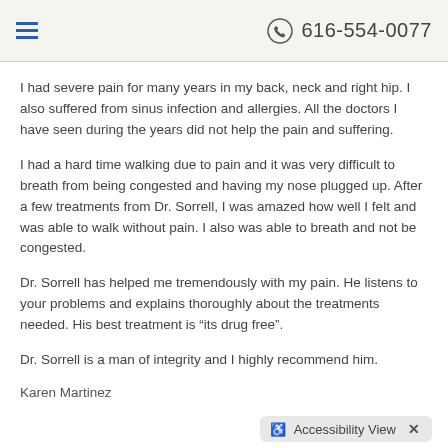616-554-0077
I had severe pain for many years in my back, neck and right hip.  I also suffered from sinus infection and allergies.  All the doctors I have seen during the years did not help the pain and suffering.
I had a hard time walking due to pain and it was very difficult to breath from being congested and having my nose plugged up.  After a few treatments from Dr. Sorrell, I was amazed how well I felt and was able to walk without pain.  I also was able to breath and not be congested.
Dr. Sorrell has helped me tremendously with my pain.  He listens to your problems and explains thoroughly about the treatments needed.  His best treatment is “its drug free”.
Dr. Sorrell is a man of integrity and I highly recommend him.
Karen Martinez